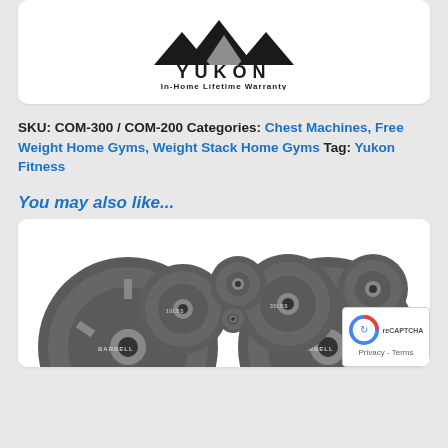[Figure (logo): Yukon Fitness logo with mountain graphic and text 'YUKON In-Home Lifetime Warranty']
SKU: COM-300 / COM-200 Categories: Chest Machines, Free Weight Home Gyms, Weight Stack Home Gyms Tag: Yukon Fitness
You may also like...
[Figure (photo): Weight plates (barbell standard plates) of various sizes arranged on white background]